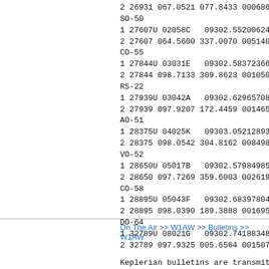2 26931 067.0521 077.8433 0006862
SO-50
1 27607U 02058C   09302.55200624 +
2 27607 064.5600 337.0070 0051400
CO-55
1 27844U 03031E   09302.58372366
2 27844 098.7133 309.8623 0010507
RS-22
1 27939U 03042A   09302.62965708 +
2 27939 097.9207 172.4459 0014655
AO-51
1 28375U 04025K   09303.05212893
2 28375 098.0542 304.8162 0084985
VO-52
1 28650U 05017B   09302.57984985 -
2 28650 097.7269 359.6003 0026198
CO-58
1 28895U 05043F   09302.68397804
2 28895 098.0390 189.3888 0016958
DO-64
1 32789U 08021G   09302.74188348 +
2 32789 097.9325 005.6564 0015071
Keplerian bulletins are transmitte
next scheduled transmission of the
3, 2009, at 2330z on Baudot and PS
NNNN
/EX
On The Air >> W1AW >> Bulletins >> W1AW